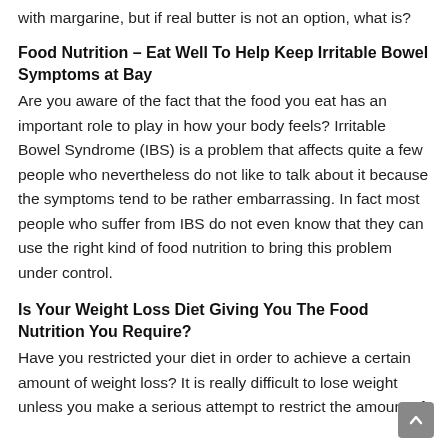with margarine, but if real butter is not an option, what is?
Food Nutrition – Eat Well To Help Keep Irritable Bowel Symptoms at Bay
Are you aware of the fact that the food you eat has an important role to play in how your body feels? Irritable Bowel Syndrome (IBS) is a problem that affects quite a few people who nevertheless do not like to talk about it because the symptoms tend to be rather embarrassing. In fact most people who suffer from IBS do not even know that they can use the right kind of food nutrition to bring this problem under control.
Is Your Weight Loss Diet Giving You The Food Nutrition You Require?
Have you restricted your diet in order to achieve a certain amount of weight loss? It is really difficult to lose weight unless you make a serious attempt to restrict the amount of